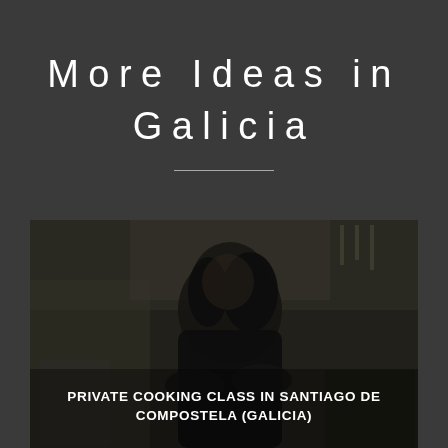More Ideas in Galicia
[Figure (photo): A smiling woman with dark hair in a kitchen setting, wearing a black outfit, with kitchen utensils and white tile walls visible in the background. The image is darkened/muted.]
PRIVATE COOKING CLASS IN SANTIAGO DE COMPOSTELA (GALICIA)